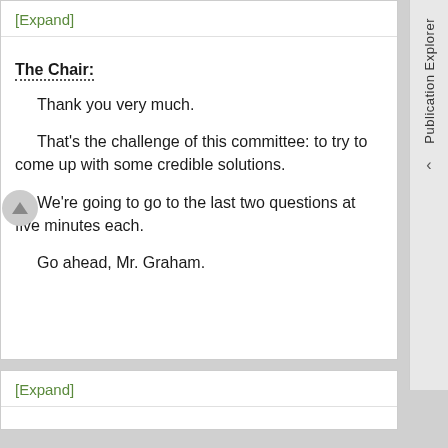[Expand]
The Chair:
Thank you very much.
That's the challenge of this committee: to try to come up with some credible solutions.
We're going to go to the last two questions at five minutes each.
Go ahead, Mr. Graham.
[Expand]